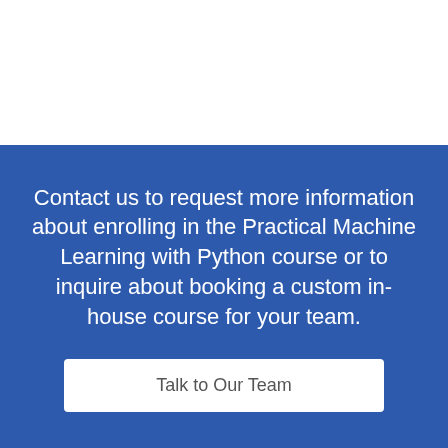Contact us to request more information about enrolling in the Practical Machine Learning with Python course or to inquire about booking a custom in-house course for your team.
Talk to Our Team